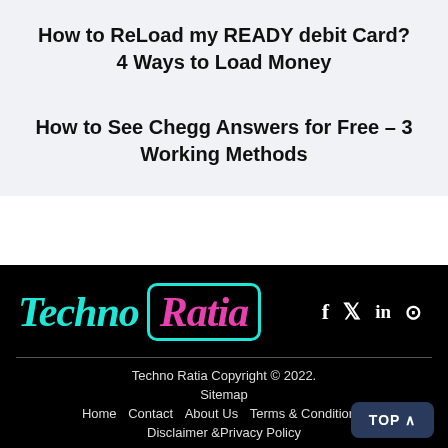How to ReLoad my READY debit Card? 4 Ways to Load Money
How to See Chegg Answers for Free – 3 Working Methods
[Figure (logo): Techno Ratia logo with teal 'Techno' text and pink 'Ratia' text in a teal-bordered box, on black background. Social media icons (Facebook, Twitter, LinkedIn, Instagram) to the right.]
Techno Ratia Copyright © 2022. Sitemap Home Contact About Us Terms & Conditions Disclaimer &Privacy Policy